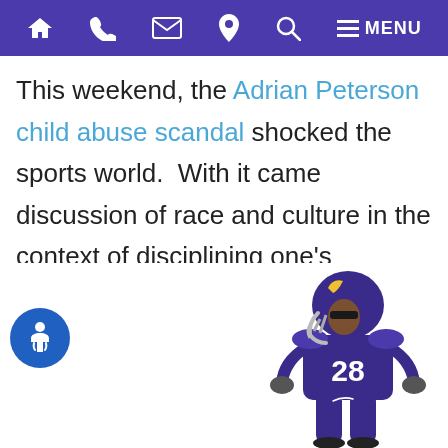Navigation bar with home, phone, email, location, search, and MENU icons
This weekend, the Adrian Peterson child abuse scandal shocked the sports world.  With it came discussion of race and culture in the context of disciplining one's children.  However, the law isn't written to distinguish between races. The law distinguishes between right and wrong.  So what is legal parental discipline under Rhode Island law?
[Figure (photo): Football player wearing purple Minnesota Vikings jersey number 28, standing in full uniform with helmet on white background. Accessibility wheelchair icon visible in lower left.]